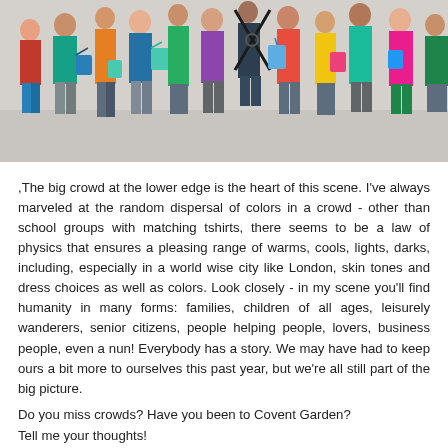[Figure (illustration): Colorful illustration of a crowd of people with shopping bags and various colored clothing, viewed from slightly above at a busy market or shopping area like Covent Garden.]
,The big crowd at the lower edge is the heart of this scene. I've always marveled at the random dispersal of colors in a crowd - other than school groups with matching tshirts, there seems to be a law of physics that ensures a pleasing range of warms, cools, lights, darks, including, especially in a world wise city like London, skin tones and dress choices as well as colors. Look closely - in my scene you'll find humanity in many forms: families, children of all ages, leisurely wanderers, senior citizens, people helping people, lovers, business people, even a nun! Everybody has a story. We may have had to keep ours a bit more to ourselves this past year, but we're all still part of the big picture.
Do you miss crowds? Have you been to Covent Garden?
Tell me your thoughts!
Click here to find London Covent Garden for purchase as a fine...